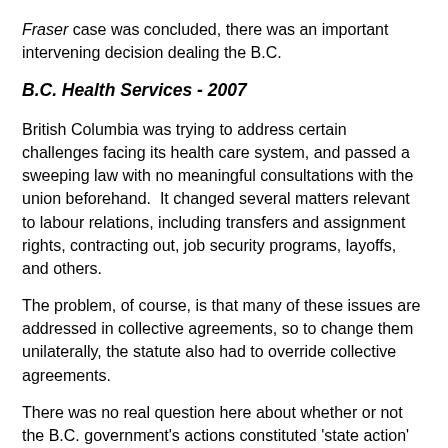Fraser case was concluded, there was an important intervening decision dealing the B.C.
B.C. Health Services - 2007
British Columbia was trying to address certain challenges facing its health care system, and passed a sweeping law with no meaningful consultations with the union beforehand.  It changed several matters relevant to labour relations, including transfers and assignment rights, contracting out, job security programs, layoffs, and others.
The problem, of course, is that many of these issues are addressed in collective agreements, so to change them unilaterally, the statute also had to override collective agreements.
There was no real question here about whether or not the B.C. government's actions constituted 'state action' capable of attracting scrutiny under the Charter:  The real question was whether or not the Supreme Court was now prepared to reverse its position in the Trilogy, and recognize that the